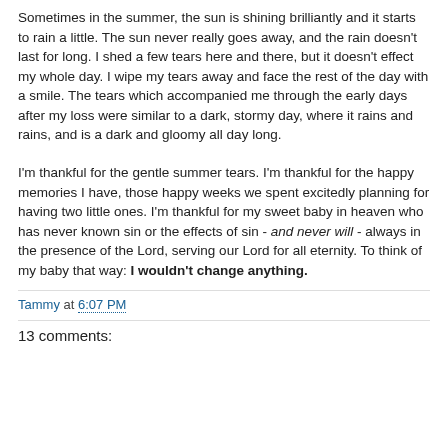Sometimes in the summer, the sun is shining brilliantly and it starts to rain a little. The sun never really goes away, and the rain doesn't last for long. I shed a few tears here and there, but it doesn't effect my whole day. I wipe my tears away and face the rest of the day with a smile. The tears which accompanied me through the early days after my loss were similar to a dark, stormy day, where it rains and rains, and is a dark and gloomy all day long.
I'm thankful for the gentle summer tears. I'm thankful for the happy memories I have, those happy weeks we spent excitedly planning for having two little ones. I'm thankful for my sweet baby in heaven who has never known sin or the effects of sin - and never will - always in the presence of the Lord, serving our Lord for all eternity. To think of my baby that way: I wouldn't change anything.
Tammy at 6:07 PM
13 comments: